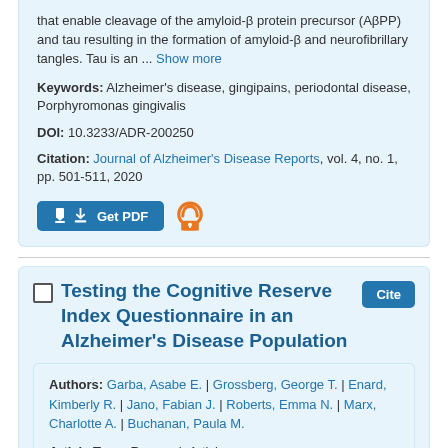that enable cleavage of the amyloid-β protein precursor (AβPP) and tau resulting in the formation of amyloid-β and neurofibrillary tangles. Tau is an ... Show more
Keywords: Alzheimer's disease, gingipains, periodontal disease, Porphyromonas gingivalis
DOI: 10.3233/ADR-200250
Citation: Journal of Alzheimer's Disease Reports, vol. 4, no. 1, pp. 501-511, 2020
[Figure (other): Get PDF button with download icon and open access orange lock icon]
Testing the Cognitive Reserve Index Questionnaire in an Alzheimer's Disease Population
Authors: Garba, Asabe E. | Grossberg, George T. | Enard, Kimberly R. | Jano, Fabian J. | Roberts, Emma N. | Marx, Charlotte A. | Buchanan, Paula M.
Article Type: Research Article
Abstract: Background: Alzheimer's disease (AD) is the